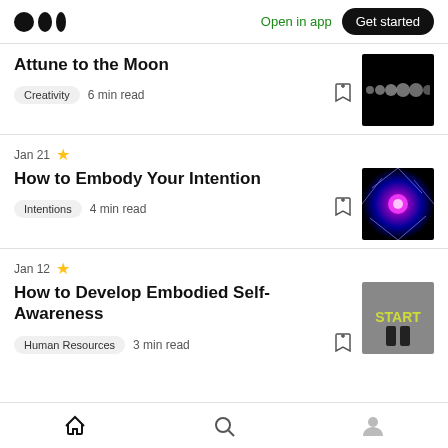Medium logo | Open in app | Get started
Attune to the Moon
Creativity  6 min read
Jan 21
How to Embody Your Intention
Intentions  4 min read
Jan 12
How to Develop Embodied Self-Awareness
Human Resources  3 min read
Home | Search | Profile